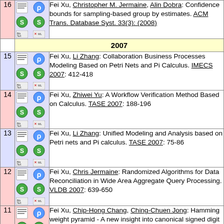16 Fei Xu, Christopher M. Jermaine, Alin Dobra: Confidence bounds for sampling-based group by estimates. ACM Trans. Database Syst. 33(3): (2008)
2007
15 Fei Xu, Li Zhang: Collaboration Business Processes Modeling Based on Petri Nets and Pi Calculus. IMECS 2007: 412-418
14 Fei Xu, Zhiwei Yu: A Workflow Verification Method Based on Calculus. TASE 2007: 188-196
13 Fei Xu, Li Zhang: Unified Modeling and Analysis based on Petri nets and Pi calculus. TASE 2007: 75-86
12 Fei Xu, Chris Jermaine: Randomized Algorithms for Data Reconciliation in Wide Area Aggregate Query Processing. VLDB 2007: 639-650
11 Fei Xu, Chip-Hong Chang, Ching-Chuen Jong: Hamming weight pyramid - A new insight into canonical signed digit representation and its applications. Computers & Electrical Engineering 33(3): 195-207 (2007)